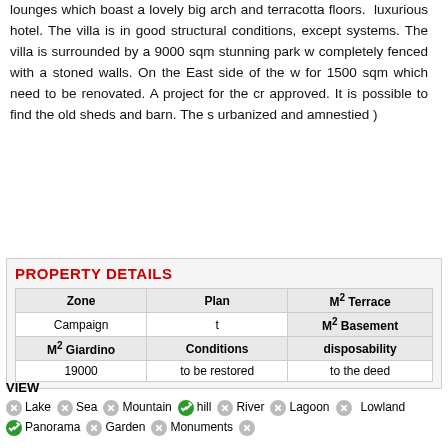lounges which boast a lovely big arch and terracotta floors. luxurious hotel. The villa is in good structural conditions, except systems. The villa is surrounded by a 9000 sqm stunning park w completely fenced with a stoned walls. On the East side of the w for 1500 sqm which need to be renovated. A project for the cr approved. It is possible to find the old sheds and barn. The s urbanized and amnestied )
| Zone | Plan | M² Terrace | M² Basement |
| --- | --- | --- | --- |
| Campaign | t |  |  |
| M² Giardino | Conditions | disposability |  |
| 19000 | to be restored | to the deed |  |
VIEW
Lake Sea Mountain hill River Lagoon Lowland Panorama Garden Monuments